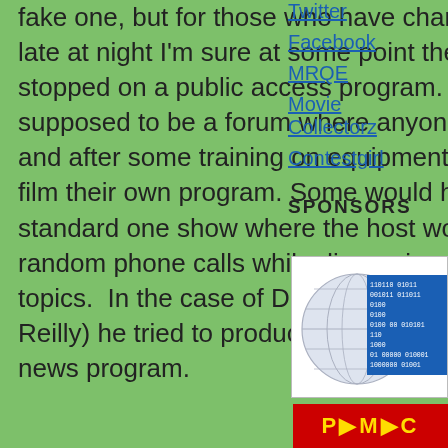fake one, but for those who have channel-surfed late at night I'm sure at some point the channel has stopped on a public access program.  It was supposed to be a forum where anyone could go in and after some training on equipment be able to film their own program. Some would have the standard one show where the host would take random phone calls while discussing a variety of topics.  In the case of Dr. Steve Brule (John C. Reilly) he tried to produce his own 'on the town' news program.
Twitter
Facebook
MRQE
Movie Collectorz
Contestgirl
SPONSORS
[Figure (logo): Globe with binary code overlay sponsor image]
[Figure (logo): Red banner with yellow text at bottom right]